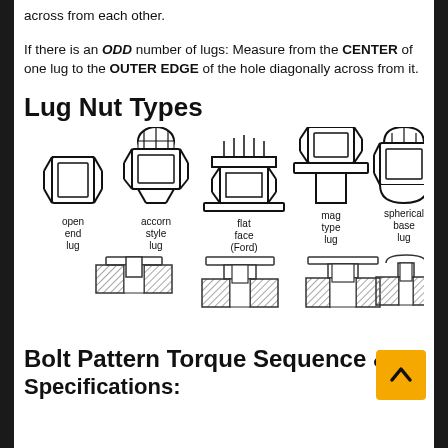across from each other.
If there is an ODD number of lugs: Measure from the CENTER of one lug to the OUTER EDGE of the hole diagonally across from it.
Lug Nut Types
[Figure (illustration): Five lug nut types shown as line drawings with labels: open end lug, accorn style lug, flat face (Ford), mag type lug, spherical base lug. Below are four cross-section diagrams showing how each nut type seats against a wheel.]
Bolt Pattern Torque Sequence &
Specifications: